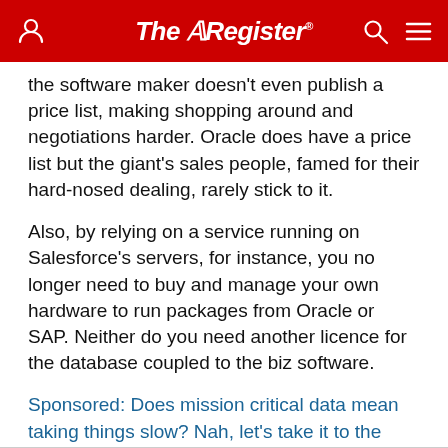The Register
the software maker doesn't even publish a price list, making shopping around and negotiations harder. Oracle does have a price list but the giant's sales people, famed for their hard-nosed dealing, rarely stick to it.
Also, by relying on a service running on Salesforce's servers, for instance, you no longer need to buy and manage your own hardware to run packages from Oracle or SAP. Neither do you need another licence for the database coupled to the biz software.
Sponsored: Does mission critical data mean taking things slow? Nah, let's take it to the Max